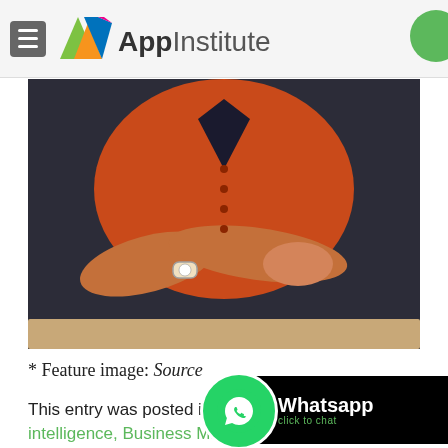AppInstitute
[Figure (photo): A person wearing an orange/rust button-up short-sleeve top with arms crossed, wearing a watch, leaning on a table edge. Dark background.]
* Feature image: Source
This entry was posted in Artificial intelligence, Business Marketing
[Figure (other): WhatsApp click to chat button overlay with green phone icon on black pill-shaped background]